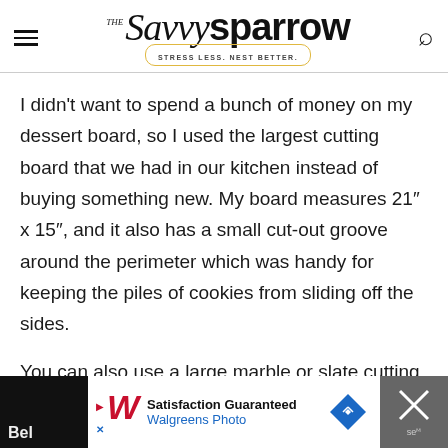The Savvy Sparrow — STRESS LESS. NEST BETTER.
I didn't want to spend a bunch of money on my dessert board, so I used the largest cutting board that we had in our kitchen instead of buying something new. My board measures 21" x 15", and it also has a small cut-out groove around the perimeter which was handy for keeping the piles of cookies from sliding off the sides.
You can also use a large marble or slate cutting board or serving board.
[Figure (screenshot): Advertisement bar: Walgreens Photo — Satisfaction Guaranteed, with navigation text partially visible on left and right edges.]